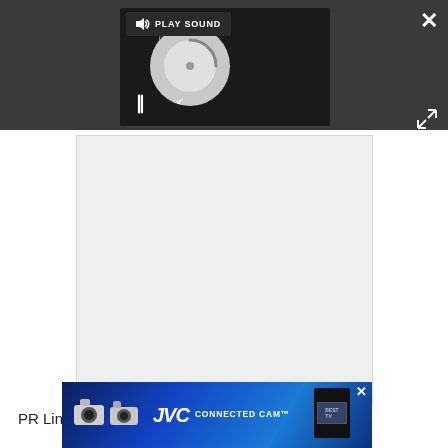[Figure (screenshot): Video player interface overlay on a dark background. Shows a 'PLAY SOUND' tooltip with speaker icon, a loading spinner circle, pause button (||), an X close button, and a resize/expand icon. Below is a gray content area. PR Link text is visible. JVC Connected Cam advertisement banner at bottom.]
PR Link: www.ingearpr.com/Haivision/121017.zip
[Figure (screenshot): JVC Connected Cam advertisement banner showing cameras and blue gradient background]